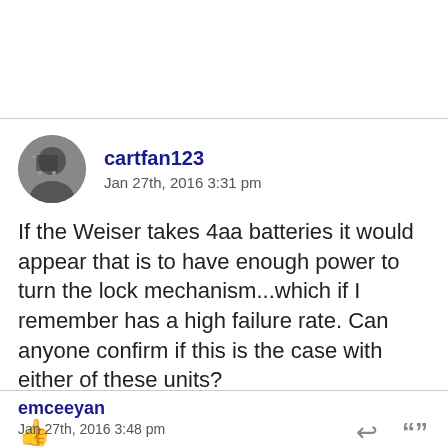cartfan123
Jan 27th, 2016 3:31 pm
If the Weiser takes 4aa batteries it would appear that is to have enough power to turn the lock mechanism...which if I remember has a high failure rate. Can anyone confirm if this is the case with either of these units?
emceeyan
Jan 27th, 2016 3:48 pm